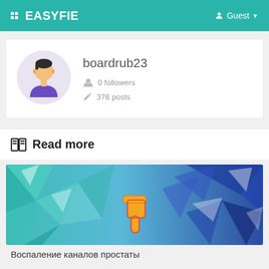EASYFIE | Guest
[Figure (illustration): User profile avatar: cartoon person with dark hair in purple shirt on light purple circle background]
boardrub23
0 followers
376 posts
Read more
[Figure (illustration): Low-poly geometric background in teal and blue tones with a thumbs-down hand icon in the center]
Воспаление каналов простаты